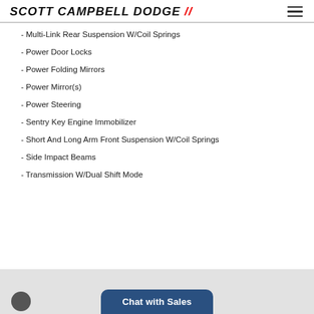SCOTT CAMPBELL DODGE
- Multi-Link Rear Suspension W/Coil Springs
- Power Door Locks
- Power Folding Mirrors
- Power Mirror(s)
- Power Steering
- Sentry Key Engine Immobilizer
- Short And Long Arm Front Suspension W/Coil Springs
- Side Impact Beams
- Transmission W/Dual Shift Mode
Chat with Sales